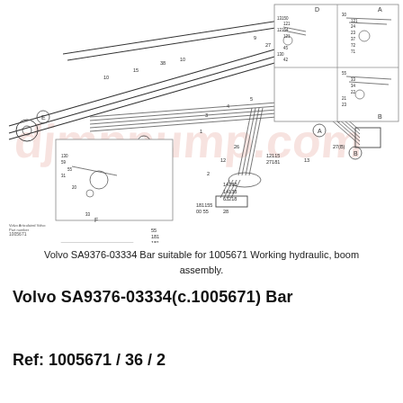[Figure (engineering-diagram): Technical exploded/assembly diagram of Volvo SA9376-03334 working hydraulic boom assembly (part 1005671). Shows hydraulic lines, hoses, fittings, and numbered components across the boom arm. Includes detail insets labeled A, B, D (top right) and E, F (lower left) with part call-outs. Component reference numbers visible throughout including 1, 2, 3, 4, 5, 6, 7, 8, 9, 10, 12, 13, 14133, 14138, 63218, 20, 21, 22, 25, 26, 27, 28, 31, 33, 35, 55, and others. A watermark 'djmppump.com' overlays the diagram in light red.]
Volvo SA9376-03334 Bar suitable for 1005671 Working hydraulic, boom assembly.
Volvo SA9376-03334(c.1005671) Bar
Ref: 1005671 / 36 / 2